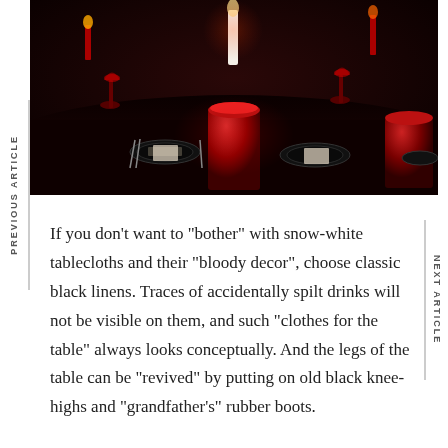[Figure (photo): Elegant dining table set for a formal event with black tablecloth, red cylinder centerpieces, candles, wine glasses, and place settings in a dark atmospheric setting]
If you don't want to "bother" with snow-white tablecloths and their "bloody decor", choose classic black linens. Traces of accidentally spilt drinks will not be visible on them, and such "clothes for the table" always looks conceptually. And the legs of the table can be "revived" by putting on old black knee-highs and "grandfather's" rubber boots.